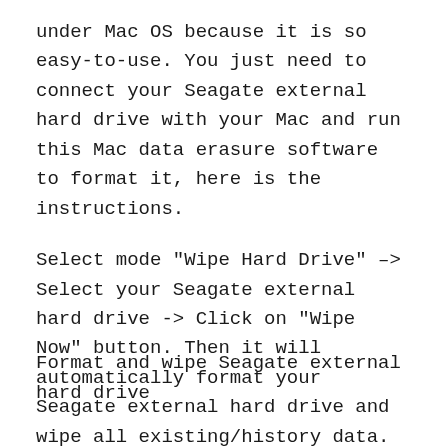under Mac OS because it is so easy-to-use. You just need to connect your Seagate external hard drive with your Mac and run this Mac data erasure software to format it, here is the instructions.
Select mode "Wipe Hard Drive" –> Select your Seagate external hard drive -> Click on "Wipe Now" button. Then it will automatically format your Seagate external hard drive and wipe all existing/history data. You will get a brand new Seagate external hard drive.
Format and wipe Seagate external hard drive